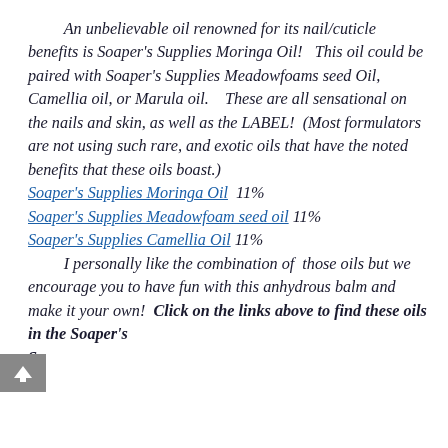An unbelievable oil renowned for its nail/cuticle benefits is Soaper's Supplies Moringa Oil!  This oil could be paired with Soaper's Supplies Meadowfoams seed Oil, Camellia oil, or Marula oil.   These are all sensational on the nails and skin, as well as the LABEL!  (Most formulators are not using such rare, and exotic oils that have the noted benefits that these oils boast.) Soaper's Supplies Moringa Oil  11% Soaper's Supplies Meadowfoam seed oil  11% Soaper's Supplies Camellia Oil  11%   I personally like the combination of  those oils but we encourage you to have fun with this anhydrous balm and make it your own!  Click on the links above to find these oils in the Soaper's Supplies store.